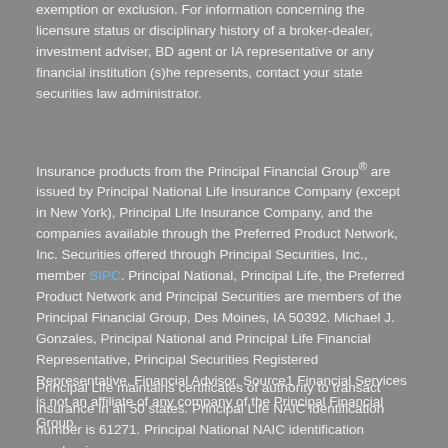exemption or exclusion. For information concerning the licensure status or disciplinary history of a broker-dealer, investment adviser, BD agent or IA representative or any financial institution (s)he represents, contact your state securities law administrator.
Insurance products from the Principal Financial Group® are issued by Principal National Life Insurance Company (except in New York), Principal Life Insurance Company, and the companies available through the Preferred Product Network, Inc. Securities offered through Principal Securities, Inc., member SIPC. Principal National, Principal Life, the Preferred Product Network and Principal Securities are members of the Principal Financial Group, Des Moines, IA 50392. Michael J. Gonzales, Principal National and Principal Life Financial Representative, Principal Securities Registered Representative, Financial Advisor. Source1 Financial Services is not an affiliate of any company of the Principal Financial Group.
Principal Life maintains certificates of authority to transact insurance in all 50 states. Principal Life NAIC identification number is 61271. Principal National NAIC identification number is